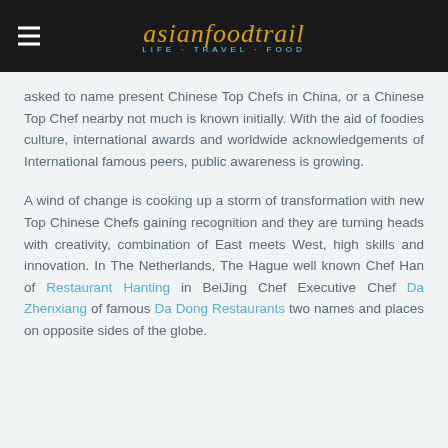asianfoodtrail LIFE TRAVEL FOOD
asked to name present Chinese Top Chefs in China, or a Chinese Top Chef nearby not much is known initially. With the aid of foodies culture, international awards and worldwide acknowledgements of International famous peers, public awareness is growing.
A wind of change is cooking up a storm of transformation with new Top Chinese Chefs gaining recognition and they are turning heads with creativity, combination of East meets West, high skills and innovation. In The Netherlands, The Hague well known Chef Han of Restaurant Hanting in BeiJing Chef Executive Chef Da Zhenxiang of famous Da Dong Restaurants two names and places on opposite sides of the globe.